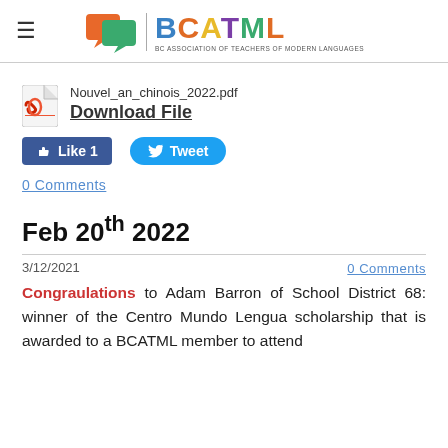BCATML — BC Association of Teachers of Modern Languages
[Figure (logo): BCATML logo with stylized speech bubble icon and colorful text]
Nouvel_an_chinois_2022.pdf
Download File
[Figure (other): Facebook Like 1 button and Twitter Tweet button]
0 Comments
Feb 20th 2022
3/12/2021
0 Comments
Congraulations to Adam Barron of School District 68: winner of the Centro Mundo Lengua scholarship that is awarded to a BCATML member to attend